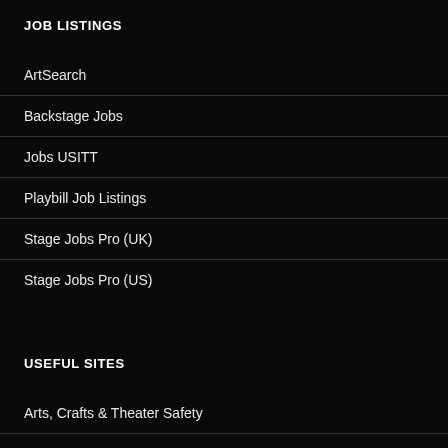JOB LISTINGS
ArtSearch
Backstage Jobs
Jobs USITT
Playbill Job Listings
Stage Jobs Pro (UK)
Stage Jobs Pro (US)
USEFUL SITES
Arts, Crafts & Theater Safety
Blue Room Technical Forum